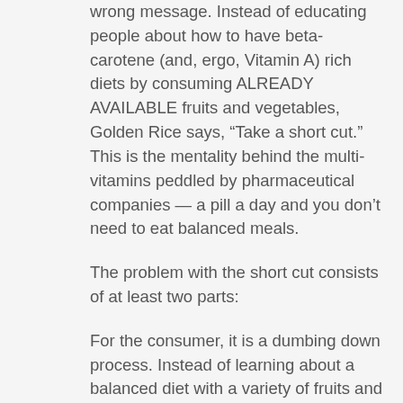wrong message. Instead of educating people about how to have beta-carotene (and, ergo, Vitamin A) rich diets by consuming ALREADY AVAILABLE fruits and vegetables, Golden Rice says, “Take a short cut.” This is the mentality behind the multi-vitamins peddled by pharmaceutical companies — a pill a day and you don’t need to eat balanced meals.
The problem with the short cut consists of at least two parts:
For the consumer, it is a dumbing down process. Instead of learning about a balanced diet with a variety of fruits and vegetables, he is lulled into a false sense of security in thinking that Golden Rice is a miracle food. Look at it this way, eat a cup of Golden Rice and you get Vitamin A. But eat a cup of carrots and, in addition to Vitamin A, one also get significant amounts of calcium, magnesium, phosphorus and potassium. Do I even